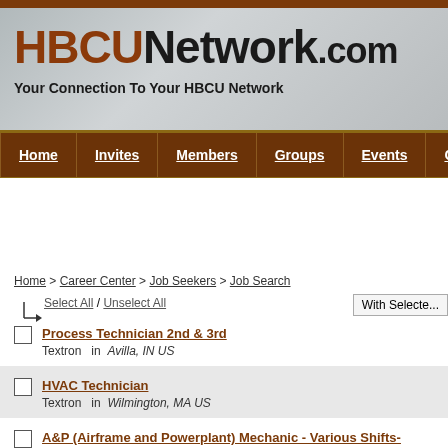[Figure (screenshot): HBCUNetwork.com website banner with logo and tagline 'Your Connection To Your HBCU Network' on a gray blurred background]
Home | Invites | Members | Groups | Events | Ca...
Home > Career Center > Job Seekers > Job Search
Select All / Unselect All    With Selecte...
Process Technician 2nd & 3rd - Textron in Avilla, IN US
HVAC Technician - Textron in Wilmington, MA US
A&P (Airframe and Powerplant) Mechanic - Various Shifts- Newburgh, NY - Textron in Newburgh, NY US